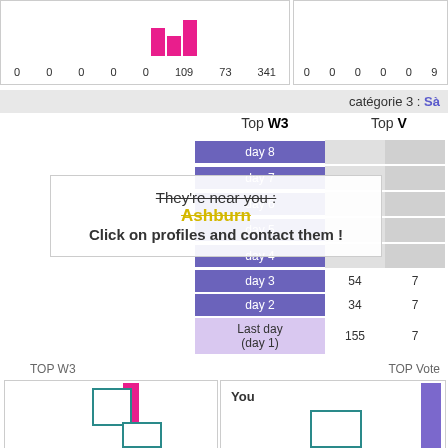[Figure (bar-chart): TOP W3 chart (top)]
[Figure (bar-chart): TOP Vote chart (top)]
catégorie 3 : Sà
Top W3    Top V
| Day | W3 | Vote |
| --- | --- | --- |
| day 8 |  |  |
| day 7 |  |  |
| day 6 |  |  |
| day 5 |  |  |
| day 4 |  |  |
| day 3 | 54 | 7 |
| day 2 | 34 | 7 |
| Last day (day 1) | 155 | 7 |
They're near you : Ashburn Click on profiles and contact them !
TOP W3
TOP Vote
You
[Figure (bar-chart): TOP W3 bottom chart]
[Figure (bar-chart): TOP Vote bottom chart]